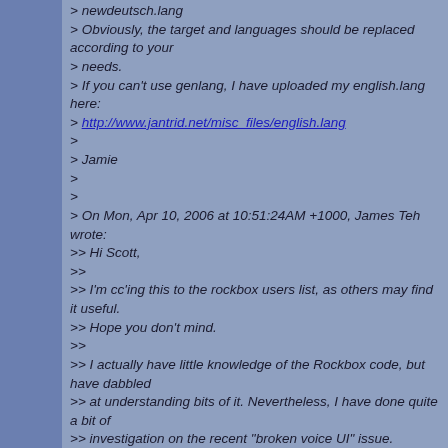> newdeutsch.lang
> Obviously, the target and languages should be replaced according to your
> needs.
> If you can't use genlang, I have uploaded my english.lang here:
> http://www.jantrid.net/misc_files/english.lang
>
> Jamie
>
>
> On Mon, Apr 10, 2006 at 10:51:24AM +1000, James Teh wrote:
>> Hi Scott,
>>
>> I'm cc'ing this to the rockbox users list, as others may find it useful.
>> Hope you don't mind.
>>
>> I actually have little knowledge of the Rockbox code, but have dabbled
>> at understanding bits of it. Nevertheless, I have done quite a bit of
>> investigation on the recent "broken voice UI" issue.
>>
>> Like many others, I have noticed that current voice files broke in early
>> april (2006-04-02 build, to be precise). This is due to major changes to
>> the language files. To further compound the issue